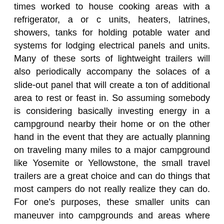times worked to house cooking areas with a refrigerator, a or c units, heaters, latrines, showers, tanks for holding potable water and systems for lodging electrical panels and units. Many of these sorts of lightweight trailers will also periodically accompany the solaces of a slide-out panel that will create a ton of additional area to rest or feast in. So assuming somebody is considering basically investing energy in a campground nearby their home or on the other hand in the event that they are actually planning on traveling many miles to a major campground like Yosemite or Yellowstone, the small travel trailers are a great choice and can do things that most campers do not really realize they can do. For one's purposes, these smaller units can maneuver into campgrounds and areas where large and wide motor homes or trailers cannot go. At the point when it comes down to purchasing a more current camper, it is easy to take a gander at various manufacturers and to research their various plans and available trailers.
[Figure (illustration): Small image placeholder icon followed by the text 'Travel Trailers' as a section header]
Consider it, campgrounds with tough maneuvers and low hanging tree appendages are hard to navigate with the